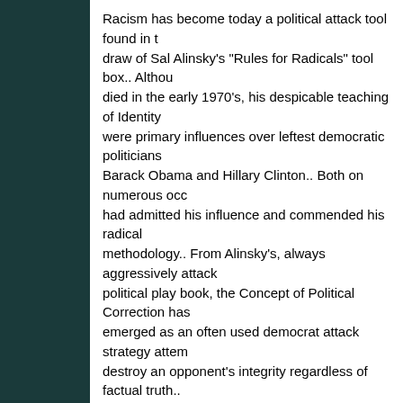Racism has become today a political attack tool found in the draw of Sal Alinsky's "Rules for Radicals" tool box.. Although died in the early 1970's, his despicable teaching of Identity were primary influences over leftest democratic politicians Barack Obama and Hillary Clinton.. Both on numerous occasions had admitted his influence and commended his radical methodology.. From Alinsky's, always aggressively attack political play book, the Concept of Political Correction has emerged as an often used democrat attack strategy attempting to destroy an opponent's integrity regardless of factual truth.. always "the ends that justify the means" in today's left wing, designed only to gain greater political power and increase control over an unaware and ill informed public .. Marx and Alinsky gone but not forgotten, still march hand in hand in their pr...
see more
↑ | ↓ Reply
Rick Lowe → Tradewinds
4 years ago
I found this instructive: The antidote to political polarisa...